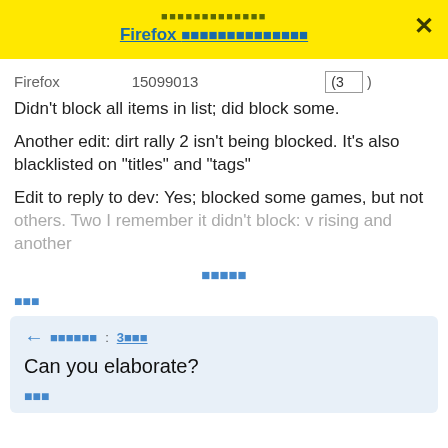░░░░░░░░░░░░░ Firefox ░░░░░░░░░░░░░░
| Firefox | 15099013 | (3) |
| --- | --- | --- |
Didn't block all items in list; did block some.
Another edit: dirt rally 2 isn't being blocked. It's also blacklisted on "titles" and "tags"
Edit to reply to dev: Yes; blocked some games, but not others. Two I remember it didn't block: v rising and another
░░░░░ (vote link)
░░░ (link)
Can you elaborate?
░░░ (reply vote)